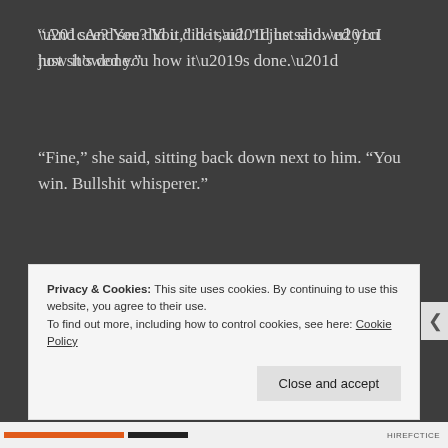“And see? You did it,” he said. “I just showed you how it’s done.”
“Fine,” she said, sitting back down next to him. “You win. Bullshit whisperer.”
“I don’t whisper to bullshit,” Thomas said. “That’s kind of gross.”
Privacy & Cookies: This site uses cookies. By continuing to use this website, you agree to their use. To find out more, including how to control cookies, see here: Cookie Policy
Close and accept